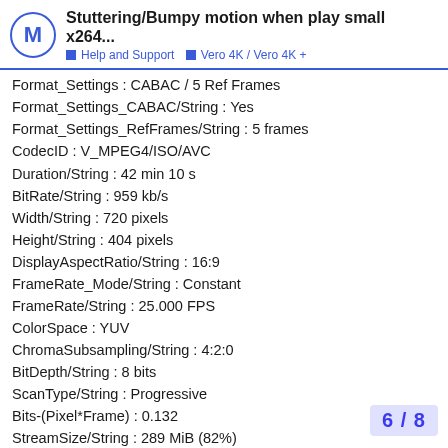Stuttering/Bumpy motion when play small x264... | Help and Support | Vero 4K / Vero 4K +
Format_Settings : CABAC / 5 Ref Frames
Format_Settings_CABAC/String : Yes
Format_Settings_RefFrames/String : 5 frames
CodecID : V_MPEG4/ISO/AVC
Duration/String : 42 min 10 s
BitRate/String : 959 kb/s
Width/String : 720 pixels
Height/String : 404 pixels
DisplayAspectRatio/String : 16:9
FrameRate_Mode/String : Constant
FrameRate/String : 25.000 FPS
ColorSpace : YUV
ChromaSubsampling/String : 4:2:0
BitDepth/String : 8 bits
ScanType/String : Progressive
Bits-(Pixel*Frame) : 0.132
StreamSize/String : 289 MiB (82%)
Encoded_Library/String : x264 core 148 r2744 b97ae06
Encoded_Library_Settings : cabac=1 / ref=
analyse=0x3:0x113 / me=hex / subme=8 / p